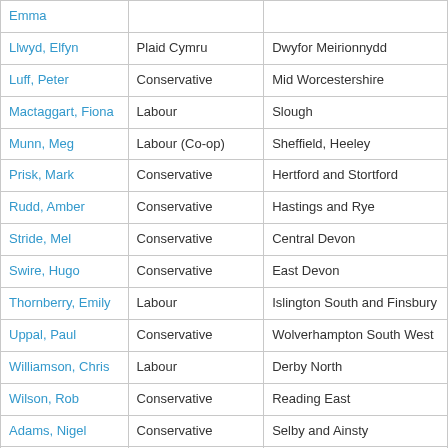| Emma |  |  |
| Llwyd, Elfyn | Plaid Cymru | Dwyfor Meirionnydd |
| Luff, Peter | Conservative | Mid Worcestershire |
| Mactaggart, Fiona | Labour | Slough |
| Munn, Meg | Labour (Co-op) | Sheffield, Heeley |
| Prisk, Mark | Conservative | Hertford and Stortford |
| Rudd, Amber | Conservative | Hastings and Rye |
| Stride, Mel | Conservative | Central Devon |
| Swire, Hugo | Conservative | East Devon |
| Thornberry, Emily | Labour | Islington South and Finsbury |
| Uppal, Paul | Conservative | Wolverhampton South West |
| Williamson, Chris | Labour | Derby North |
| Wilson, Rob | Conservative | Reading East |
| Adams, Nigel | Conservative | Selby and Ainsty |
| Alexander, Douglas | Labour | Paisley and Renfrewshire South |